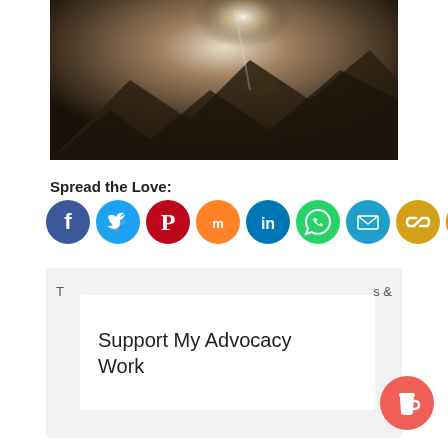[Figure (photo): Dark cave or rocky scene with dramatic light beam shining through]
Spread the Love:
[Figure (infographic): Row of 9 social share icon circles: Facebook (blue), Twitter (light blue), Pinterest (red), Mix (orange), LinkedIn (blue), WhatsApp (green), Email (teal), Copy link (gold), Share (orange)]
T
s &
Support My Advocacy Work
[Figure (illustration): Red circular coffee cup button (Buy Me a Coffee widget)]